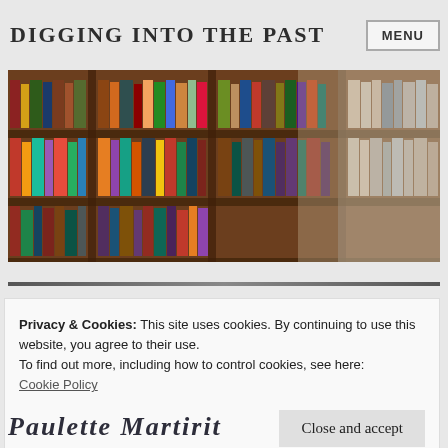DIGGING INTO THE PAST
[Figure (photo): Photograph of library bookshelves filled with many colorful books, slightly blurred depth-of-field.]
Privacy & Cookies: This site uses cookies. By continuing to use this website, you agree to their use.
To find out more, including how to control cookies, see here:
Cookie Policy
Close and accept
Paulette Martirit